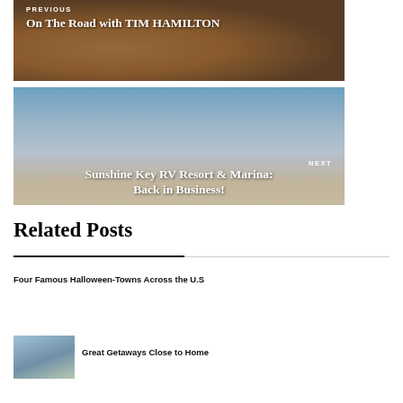[Figure (photo): Previous post navigation block with photo of a dog and person with camera, text overlay reading PREVIOUS and On The Road with TIM HAMILTON]
[Figure (photo): Next post navigation block with tropical beach/RV resort photo with palm trees, text overlay reading NEXT and Sunshine Key RV Resort & Marina: Back in Business!]
Related Posts
Four Famous Halloween-Towns Across the U.S
[Figure (photo): Thumbnail image for related post Great Getaways Close to Home]
Great Getaways Close to Home